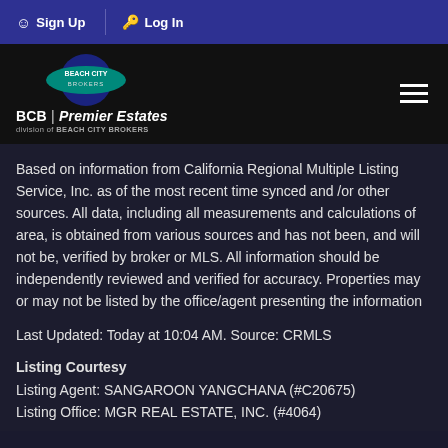Sign Up  Log In
[Figure (logo): Beach City Brokers logo with circular blue background and oval teal badge. Below: BCB | Premier Estates, division of BEACH CITY BROKERS]
Based on information from California Regional Multiple Listing Service, Inc. as of the most recent time synced and /or other sources. All data, including all measurements and calculations of area, is obtained from various sources and has not been, and will not be, verified by broker or MLS. All information should be independently reviewed and verified for accuracy. Properties may or may not be listed by the office/agent presenting the information
Last Updated: Today at 10:04 AM. Source: CRMLS
Listing Courtesy
Listing Agent: SANGAROON YANGCHANA (#C20675)
Listing Office: MGR REAL ESTATE, INC. (#4064)